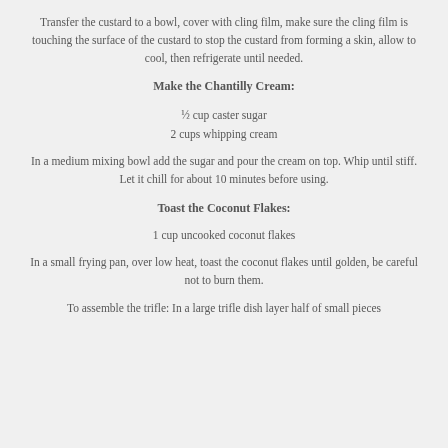Transfer the custard to a bowl, cover with cling film, make sure the cling film is touching the surface of the custard to stop the custard from forming a skin, allow to cool, then refrigerate until needed.
Make the Chantilly Cream:
½ cup caster sugar
2 cups whipping cream
In a medium mixing bowl add the sugar and pour the cream on top. Whip until stiff. Let it chill for about 10 minutes before using.
Toast the Coconut Flakes:
1 cup uncooked coconut flakes
In a small frying pan, over low heat, toast the coconut flakes until golden, be careful not to burn them.
To assemble the trifle: In a large trifle dish layer half of small pieces